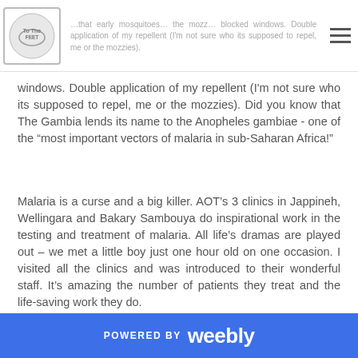...that early mosquitoes... windows. Double application of my repellent (I'm not sure who its supposed to repel, me or the mozzies). Did you know that The Gambia lends its name to the Anopheles gambiae - one of the "most important vectors of malaria in sub-Saharan Africa!"
windows. Double application of my repellent (I'm not sure who its supposed to repel, me or the mozzies). Did you know that The Gambia lends its name to the Anopheles gambiae - one of the “most important vectors of malaria in sub-Saharan Africa!”
Malaria is a curse and a big killer. AOT’s 3 clinics in Jappineh, Wellingara and Bakary Sambouya do inspirational work in the testing and treatment of malaria. All life’s dramas are played out – we met a little boy just one hour old on one occasion. I visited all the clinics and was introduced to their wonderful staff. It’s amazing the number of patients they treat and the life-saving work they do.
POWERED BY weebly